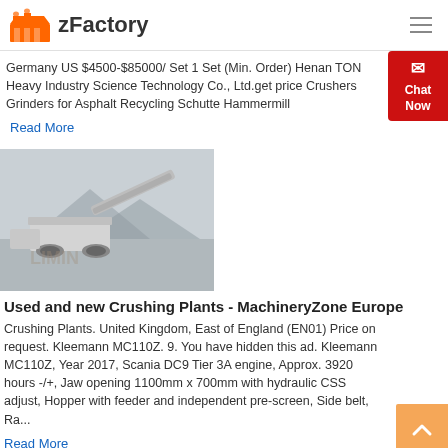zFactory
Germany US $4500-$85000/ Set 1 Set (Min. Order) Henan TON Heavy Industry Science Technology Co., Ltd.get price Crushers Grinders for Asphalt Recycling Schutte Hammermill
Read More
[Figure (photo): Photograph of a mobile crushing plant machine (Kleemann) on a gray rocky terrain background, with watermark text visible.]
Used and new Crushing Plants - MachineryZone Europe
Crushing Plants. United Kingdom, East of England (EN01) Price on request. Kleemann MC110Z. 9. You have hidden this ad. Kleemann MC110Z, Year 2017, Scania DC9 Tier 3A engine, Approx. 3920 hours -/+, Jaw opening 1100mm x 700mm with hydraulic CSS adjust, Hopper with feeder and independent pre-screen, Side belt, Ra...
Read More